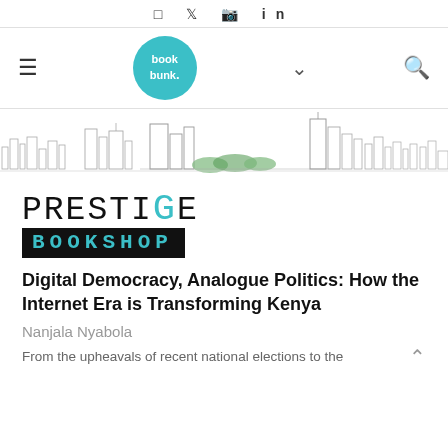□ 𝕏 ⊡ in
[Figure (logo): Book Bunk logo — teal circle with 'book bunk.' text in white, hamburger menu icon on left, chevron down in center, search icon on right]
[Figure (illustration): Nairobi city skyline sketch illustration in grey and green ink]
[Figure (logo): Prestige Bookshop logo — handwritten 'PRESTIGE' text above black bar with teal 'BOOKSHOP' text]
Digital Democracy, Analogue Politics: How the Internet Era is Transforming Kenya
Nanjala Nyabola
From the upheavals of recent national elections to the